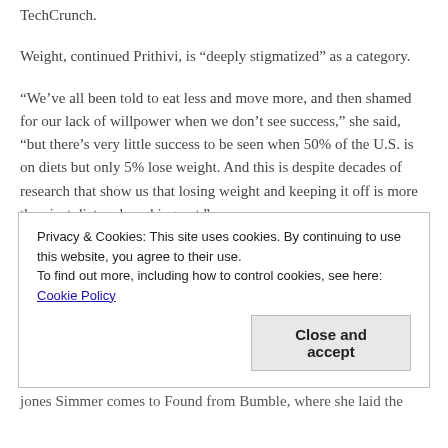TechCrunch.
Weight, continued Prithivi, is “deeply stigmatized” as a category.
“We’ve all been told to eat less and move more, and then shamed for our lack of willpower when we don’t see success,” she said, “but there’s very little success to be seen when 50% of the U.S. is on diets but only 5% lose weight. And this is despite decades of research that show us that losing weight and keeping it off is more than just diet and working out.”
Found, she said, aims to help people focus more on body positivity and what they can “find” — such as being able to finish a 5K or keeping up with their grandkids or a newfound confidence — during their weight management journey. And it does it by
Privacy & Cookies: This site uses cookies. By continuing to use this website, you agree to their use.
To find out more, including how to control cookies, see here: Cookie Policy
jones Simmer comes to Found from Bumble, where she laid the